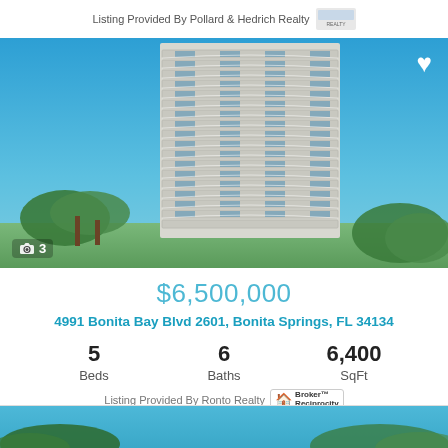Listing Provided By Pollard & Hedrich Realty
[Figure (photo): Exterior photo of a tall luxury high-rise condominium tower with white balconies against a blue sky, with palm trees in foreground. Camera icon with '3' in lower left corner.]
$6,500,000
4991 Bonita Bay Blvd 2601, Bonita Springs, FL 34134
5 Beds
6 Baths
6,400 SqFt
Listing Provided By Ronto Realty
[Figure (photo): Partial view of another property listing photo showing palm trees and blue sky at the bottom of the page.]